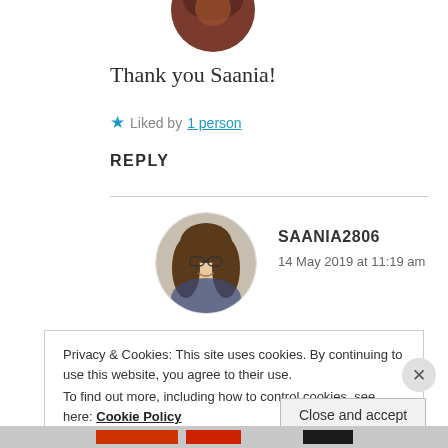[Figure (photo): Partial circular avatar photo at top of page, dark reddish tones]
Thank you Saania!
★ Liked by 1 person
REPLY
[Figure (photo): Circular profile photo of a young woman with glasses and long hair, smiling]
SAANIA2806
14 May 2019 at 11:19 am
Privacy & Cookies: This site uses cookies. By continuing to use this website, you agree to their use.
To find out more, including how to control cookies, see here: Cookie Policy
Close and accept